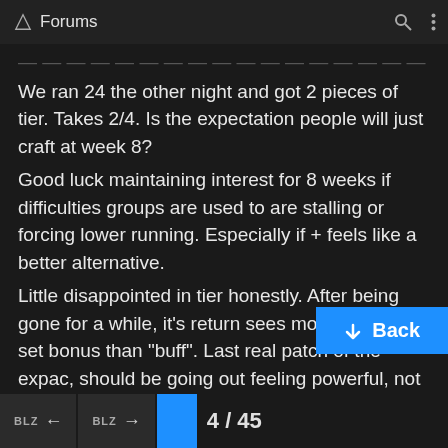Forums
We ran 24 the other night and got 2 pieces of tier. Takes 2/4. Is the expectation people will just craft at week 8?
Good luck maintaining interest for 8 weeks if difficulties groups are used to are stalling or forcing lower running. Especially if + feels like a better alternative.
Little disappointed in tier honestly. After being gone for a while, it’s return sees more “nerf” to set bonus than “buff”. Last real patch of the expac, should be going out feeling powerful, not struggling as if you just got started. Just my initial impression on the first week. Hoping I’m wrong.
Back  4 / 45